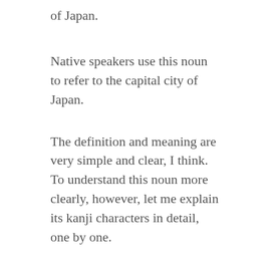of Japan.
Native speakers use this noun to refer to the capital city of Japan.
The definition and meaning are very simple and clear, I think. To understand this noun more clearly, however, let me explain its kanji characters in detail, one by one.
Tokyo in kanji
The kanji expression of “tokyo” consists of the following two characters: